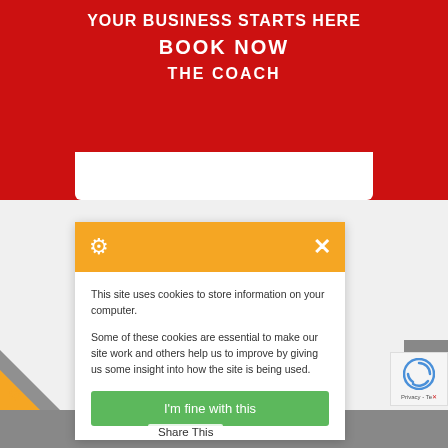YOUR BUSINESS STARTS HERE
BOOK NOW
THE COACH
[Figure (screenshot): Cookie consent popup with orange header bar showing a gear/cookie icon and X close button. Body contains two paragraphs of cookie policy text and a green 'I'm fine with this' button.]
This site uses cookies to store information on your computer.
Some of these cookies are essential to make our site work and others help us to improve by giving us some insight into how the site is being used.
I'm fine with this
| 2021
CY
Share This
SITE BY DORCHESTER WEB DESIGN